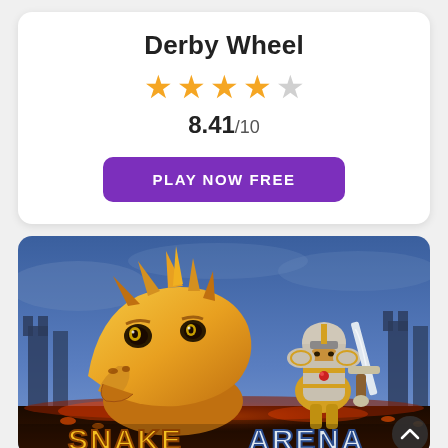Derby Wheel
★★★★☆ 8.41/10
PLAY NOW FREE
[Figure (illustration): Snake Arena game promotional image featuring a large golden dragon head and a small armored knight warrior with a sword, set against a dark blue fantasy castle background with 'SNAKE ARENA' text at the bottom]